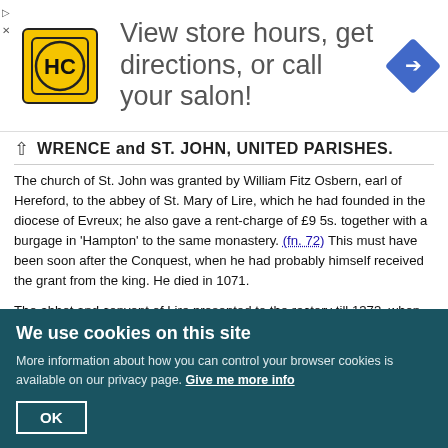[Figure (other): Advertisement banner for HC (hair salon). Yellow square logo with HC text, large text reading 'View store hours, get directions, or call your salon!' and a blue diamond navigation icon on the right.]
LAWRENCE and ST. JOHN, UNITED PARISHES.
The church of St. John was granted by William Fitz Osbern, earl of Hereford, to the abbey of St. Mary of Lire, which he had founded in the diocese of Evreux; he also gave a rent-charge of £9 5s. together with a burgage in 'Hampton' to the same monastery. (fn. 72) This must have been soon after the Conquest, when he had probably himself received the grant from the king. He died in 1071.
The abbot and convent of Lire presented to the rectory till 1373, when we find the temporalities of the abbey in the king's hands on account of the war. The convent, however, presented again through the prior of Carisbrook, their proctor, in 1400; soon after which the patronage passed into the royal hands. (fn. 73) Neither St. John's nor St. Lawrence's occurs in the Taxation of 1291. In the Valor of 1536 the church of St. John appears worth altogether £5 6s.
We use cookies on this site
More information about how you can control your browser cookies is available on our privacy page. Give me more info
OK